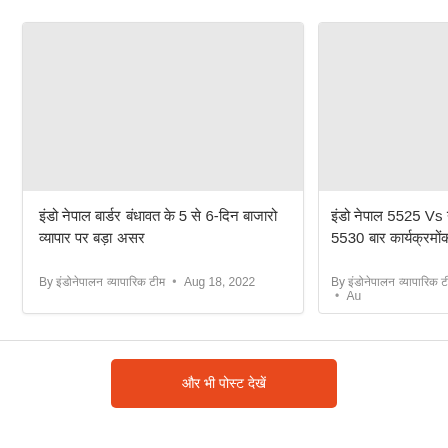[Figure (photo): Gray placeholder image for left article card]
इंडो नेपाल बार्डर बंधावत के 5 से 6-दिन बाजारो व्यापार पर बड़ा असर
By इंडोनेपालन व्यापारिक टीम • Aug 18, 2022
[Figure (photo): Gray placeholder image for right article card]
इंडो नेपाल 5525 Vs न 5530 बार कार्यक्रमोंकी
By इंडोनेपालन व्यापारिक टीम • Au
और भी पोस्ट देखें